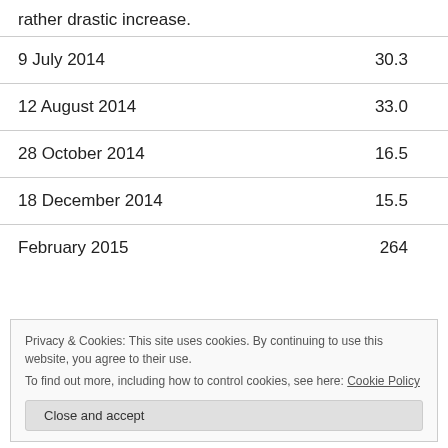rather drastic increase.
| Date | Value |
| --- | --- |
| 9 July 2014 | 30.3 |
| 12 August 2014 | 33.0 |
| 28 October 2014 | 16.5 |
| 18 December 2014 | 15.5 |
| February 2015 | 264 |
Privacy & Cookies: This site uses cookies. By continuing to use this website, you agree to their use.
To find out more, including how to control cookies, see here: Cookie Policy